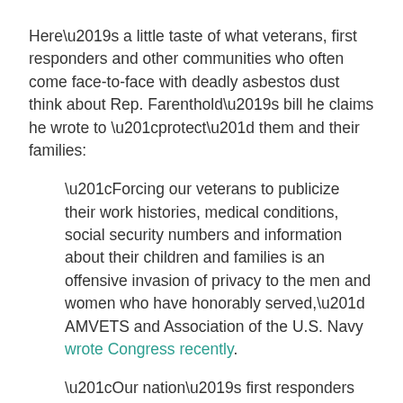Here’s a little taste of what veterans, first responders and other communities who often come face-to-face with deadly asbestos dust think about Rep. Farenthold’s bill he claims he wrote to “protect” them and their families:
“Forcing our veterans to publicize their work histories, medical conditions, social security numbers and information about their children and families is an offensive invasion of privacy to the men and women who have honorably served,” AMVETS and Association of the U.S. Navy wrote Congress recently.
“Our nation’s first responders and teachers dying of asbestos diseases deserve more respect and better treatment from